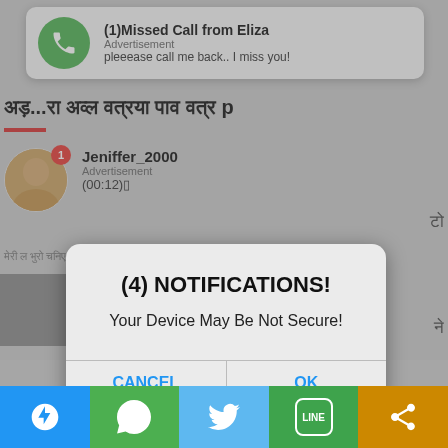[Figure (screenshot): Mobile browser screenshot showing adult content website with push notification overlays and a browser dialog box saying '(4) NOTIFICATIONS! Your Device May Be Not Secure!' with CANCEL and OK buttons. Background shows adult content thumbnails and Hindi text links. Bottom share bar with Telegram, WhatsApp, Twitter, LINE, and share icons.]
(1)Missed Call from Eliza
Advertisement
pleeease call me back.. I miss you!
Jeniffer_2000
Advertisement
(00:12)
(4) NOTIFICATIONS!
Your Device May Be Not Secure!
CANCEL
OK
आदमी के खड़े लड के फोटो – Big Penis Pictures Penis xxx photo
Kajal Raghwani Nude Fucking Ass Pussy Boobs XXX HD Porn Pic